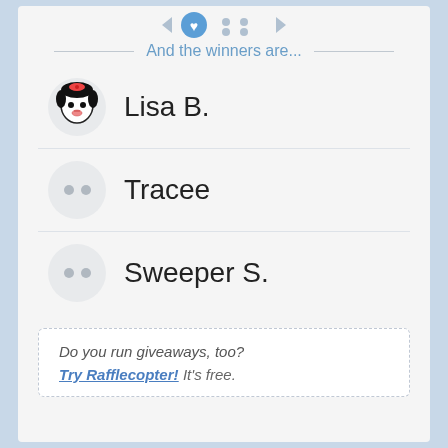And the winners are...
Lisa B.
Tracee
Sweeper S.
Do you run giveaways, too? Try Rafflecopter! It's free.